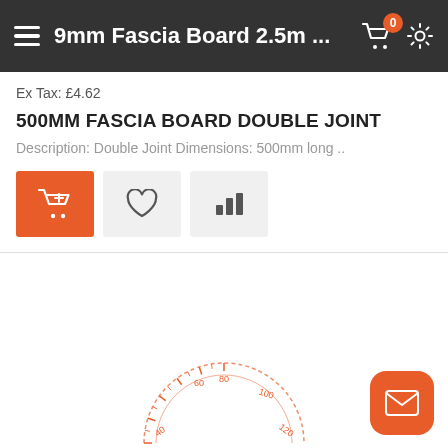9mm Fascia Board 2.5m ...
Ex Tax: £4.62
500MM FASCIA BOARD DOUBLE JOINT
Description: Double Joint Dimensions: 500mm long ..
[Figure (screenshot): Three action buttons: orange add-to-cart button, grey wishlist heart button, grey compare bar-chart button]
[Figure (other): Partial speedometer/gauge widget at bottom center, orange, showing scale from 20 to 140+]
[Figure (other): Orange rounded square email/envelope button at bottom right]